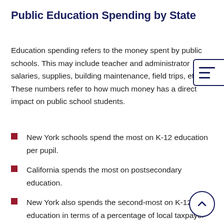Public Education Spending by State
Education spending refers to the money spent by public schools. This may include teacher and administrator salaries, supplies, building maintenance, field trips, etc. These numbers refer to how much money has a direct impact on public school students.
New York schools spend the most on K-12 education per pupil.
California spends the most on postsecondary education.
New York also spends the second-most on K-12 education in terms of a percentage of local taxpayer income.